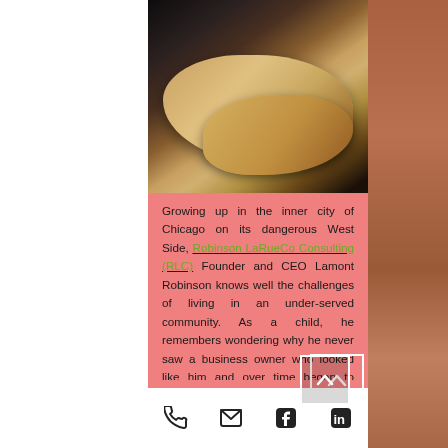[Figure (photo): Close-up photo of hands clasped or fidgeting, dark background, appears to be a man's hands]
Growing up in the inner city of Chicago on its dangerous West Side, Robinson LaRueCo Consulting (RLC) Founder and CEO Lamont Robinson knows well the challenges of living in an under-served community. As a child, he remembers wondering why he never saw a business owner who looked like him and over time began to believe it just wasn't possible.
read more
[Figure (photo): Dark section with green cursive script text partially visible at bottom, showing next article preview]
Phone | Email | Facebook | LinkedIn icons